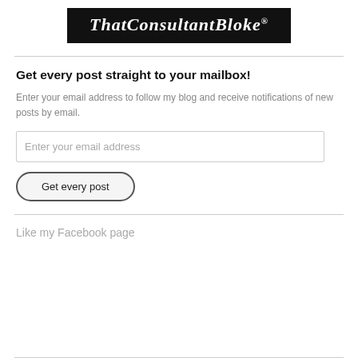[Figure (logo): ThatConsultantBloke logo in white italic script on black background]
Get every post straight to your mailbox!
Enter your email address to follow my blog and receive notifications of new posts by email.
Enter your email address
Get every post
Like my Facebook page